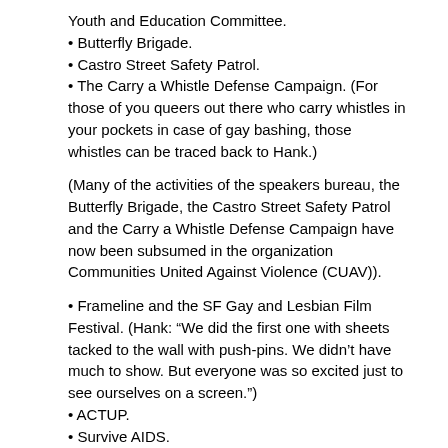Youth and Education Committee.
• Butterfly Brigade.
• Castro Street Safety Patrol.
• The Carry a Whistle Defense Campaign. (For those of you queers out there who carry whistles in your pockets in case of gay bashing, those whistles can be traced back to Hank.)
(Many of the activities of the speakers bureau, the Butterfly Brigade, the Castro Street Safety Patrol and the Carry a Whistle Defense Campaign have now been subsumed in the organization Communities United Against Violence (CUAV)).
• Frameline and the SF Gay and Lesbian Film Festival. (Hank: “We did the first one with sheets tacked to the wall with push-pins. We didn’t have much to show. But everyone was so excited just to see ourselves on a screen.”)
• ACTUP.
• Survive AIDS.
• The AIDS Candlelight Vigil
• Tenderloin AIDS Resource Center (TARC).
• The Valencia Rose. A gay and lesbian cabaret very influential in San Francisco culture. Yes, in the middle of all that, somehow Hank found time to run a cabaret.
Along with all the organizations he had a hand in founding were many more that benefited from his participation very